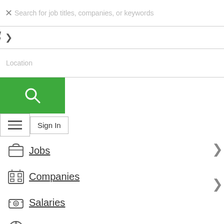Search for job titles, companies, or keywords
Location
[Figure (screenshot): Green search button with magnifying glass icon]
[Figure (screenshot): Hamburger menu button with three horizontal lines]
Sign In
Jobs
Companies
Salaries
Careers
For Employers
Post Jobs
Blog Home